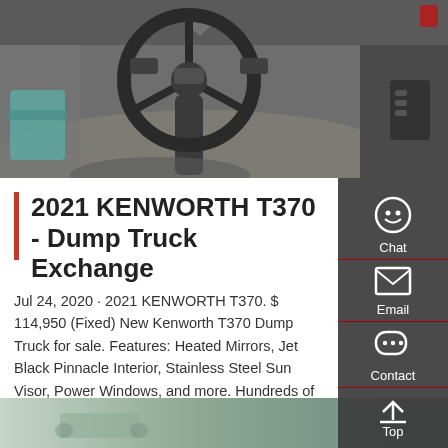[Figure (photo): Interior photo of a Kenworth T370 truck cab showing the steering wheel, dashboard, and controls]
2021 KENWORTH T370 - Dump Truck Exchange
Jul 24, 2020 · 2021 KENWORTH T370. $ 114,950 (Fixed) New Kenworth T370 Dump Truck for sale. Features: Heated Mirrors, Jet Black Pinnacle Interior, Stainless Steel Sun Visor, Power Windows, and more. Hundreds of new and used trucks, trailers, and parts ...
Get a Quote